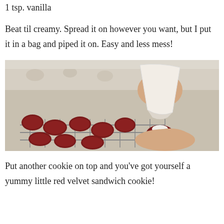1 tsp. vanilla
Beat til creamy. Spread it on however you want, but I put it in a bag and piped it on. Easy and less mess!
[Figure (photo): Person's hand holding a piping bag filled with white cream frosting, piping it onto a round red velvet cookie held in the other hand. Multiple red velvet cookies are visible on a wire cooling rack in the background.]
Put another cookie on top and you've got yourself a yummy little red velvet sandwich cookie!